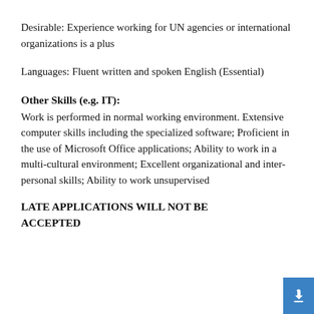Desirable: Experience working for UN agencies or international organizations is a plus
Languages: Fluent written and spoken English (Essential)
Other Skills (e.g. IT):
Work is performed in normal working environment. Extensive computer skills including the specialized software; Proficient in the use of Microsoft Office applications; Ability to work in a multi-cultural environment; Excellent organizational and inter-personal skills; Ability to work unsupervised
LATE APPLICATIONS WILL NOT BE ACCEPTED